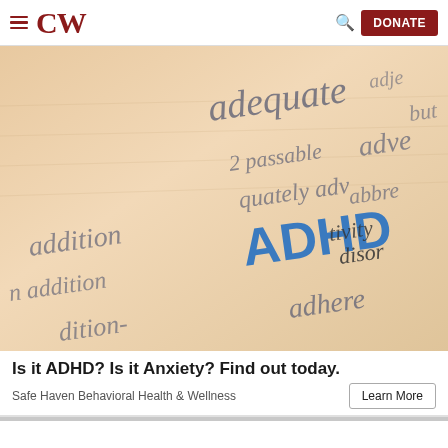CW | DONATE
[Figure (photo): Close-up photo of a dictionary page with the word ADHD highlighted in blue, with a red push pin on the page. Surrounding text includes words like adequate, passable, adverb, abbreviation, tivity disorder, adhere.]
Is it ADHD? Is it Anxiety? Find out today.
Safe Haven Behavioral Health & Wellness
Learn More